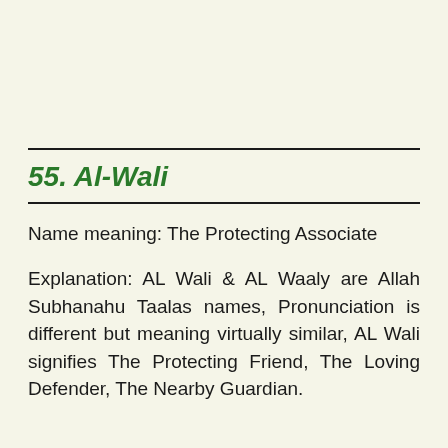55. Al-Wali
Name meaning: The Protecting Associate
Explanation: AL Wali & AL Waaly are Allah Subhanahu Taalas names, Pronunciation is different but meaning virtually similar, AL Wali signifies The Protecting Friend, The Loving Defender, The Nearby Guardian.